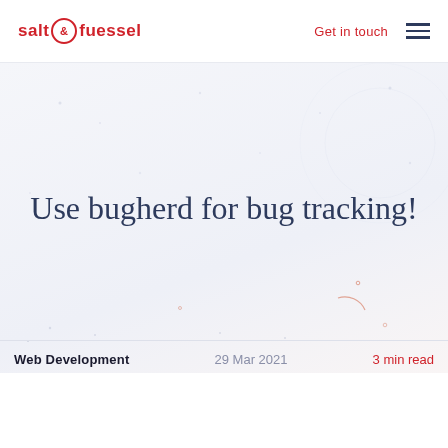salt & fuessel — Get in touch
Use bugherd for bug tracking!
Web Development    29 Mar 2021    3 min read